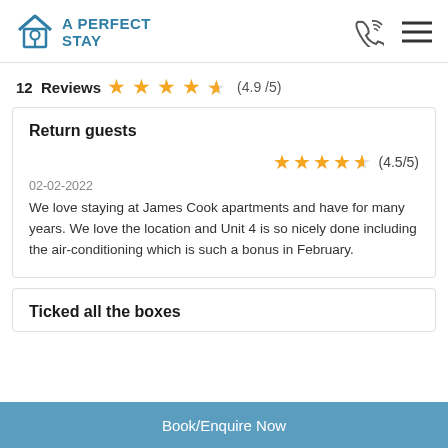A PERFECT STAY
12  Reviews  (4.9/5)
Return guests
(4.5/5)
02-02-2022
We love staying at James Cook apartments and have for many years. We love the location and Unit 4 is so nicely done including the air-conditioning which is such a bonus in February.
Ticked all the boxes
Book/Enquire Now